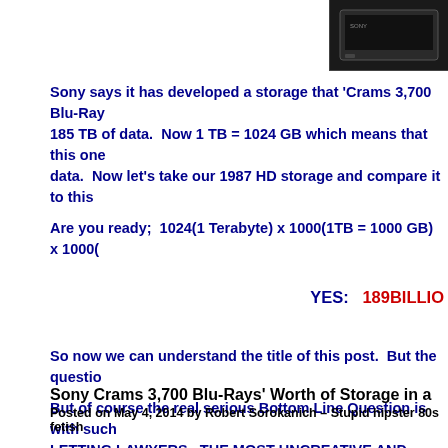[Figure (photo): Dark device/hardware image in top-right corner]
Sony says it has developed a storage that 'Crams 3,700 Blu-Ray 185 TB of data.  Now 1 TB = 1024 GB which means that this one data.  Now let's take our 1987 HD storage and compare it to this
Are you ready;  1024(1 Terabyte) x 1000(1TB = 1000 GB)  x 1000(
YES:   189BILLIO
So now we can understand the title of this post.  But the questio
But of course the real serious Bottom Line Question is with such LETTING LAWYERS,  THE MOST UNCREATIVE AND LEAST PRO
[Figure (infographic): Ad box with US flag and text: Take Cl Get Lawye]
Sony Crams 3,700 Blu-Rays' Worth of Storage in a
Posted on May 4, 2014 by Robert Sorokanich – Stupid hipster 80s fetish